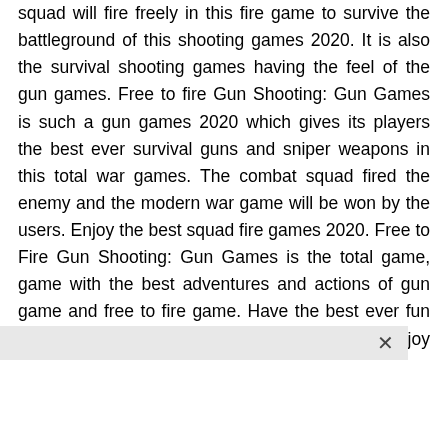squad will fire freely in this fire game to survive the battleground of this shooting games 2020. It is also the survival shooting games having the feel of the gun games. Free to fire Gun Shooting: Gun Games is such a gun games 2020 which gives its players the best ever survival guns and sniper weapons in this total war games. The combat squad fired the enemy and the modern war game will be won by the users. Enjoy the best squad fire games 2020. Free to Fire Gun Shooting: Gun Games is the total game, game with the best adventures and actions of gun game and free to fire game. Have the best ever fun with Free to Fire Gun Shooting: Gun Games. Enjoy offline!